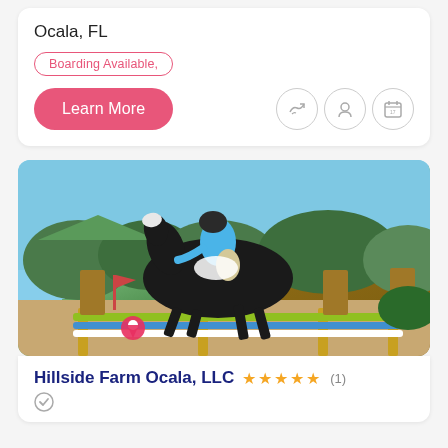Ocala, FL
Boarding Available,
Learn More
[Figure (photo): Equestrian rider on a dark horse jumping over a colorful fence obstacle at an outdoor show jumping competition. Rider wears blue shirt and black helmet. Background shows green trees and blue sky.]
Hillside Farm Ocala, LLC ★★★★★ (1)